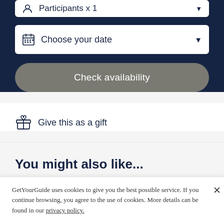[Figure (screenshot): Partial dropdown row for Participants x 1 selector at top of dark navy panel]
[Figure (screenshot): Dropdown row with calendar icon labeled 'Choose your date' with down arrow, on dark navy background]
[Figure (screenshot): Gray rounded 'Check availability' button on dark navy background]
Give this as a gift
You might also like...
GetYourGuide uses cookies to give you the best possible service. If you continue browsing, you agree to the use of cookies. More details can be found in our privacy policy.